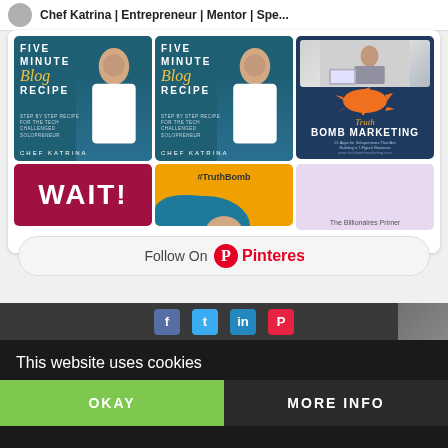Chef Katrina | Entrepreneur | Mentor | Spe...
[Figure (screenshot): Pinterest widget showing book covers for 'Five Minute Blog Recipe' by Chef Katrina (two copies), a woman working at laptop with phone, Truth Bomb Marketing book cover, a 'WAIT!' graphic in red/maroon, a #TruthBomb orange graphic, and The Billionaires Primer partial. Followed by a 'Follow On Pinterest' button.]
Follow On Pinterest
This website uses cookies
OKAY
MORE INFO